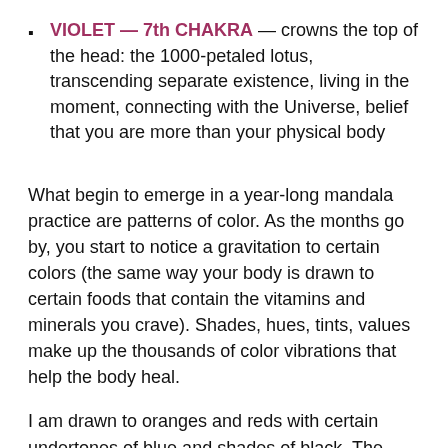VIOLET — 7th CHAKRA — crowns the top of the head: the 1000-petaled lotus, transcending separate existence, living in the moment, connecting with the Universe, belief that you are more than your physical body
What begin to emerge in a year-long mandala practice are patterns of color. As the months go by, you start to notice a gravitation to certain colors (the same way your body is drawn to certain foods that contain the vitamins and minerals you crave). Shades, hues, tints, values make up the thousands of color vibrations that help the body heal.
I am drawn to oranges and reds with certain undertones of blue and shades of black. The oranges and reds are at the base of the actions connected to mind, body, at a giving...